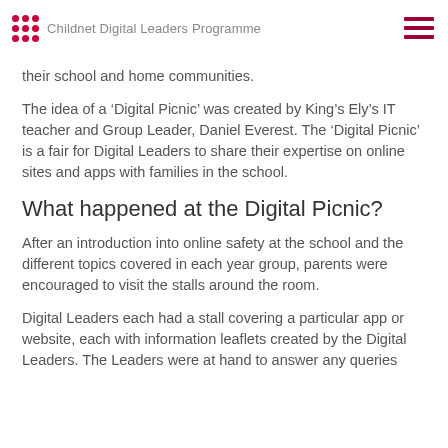Childnet Digital Leaders Programme
their school and home communities.
The idea of a ‘Digital Picnic’ was created by King’s Ely’s IT teacher and Group Leader, Daniel Everest. The ‘Digital Picnic’ is a fair for Digital Leaders to share their expertise on online sites and apps with families in the school.
What happened at the Digital Picnic?
After an introduction into online safety at the school and the different topics covered in each year group, parents were encouraged to visit the stalls around the room.
Digital Leaders each had a stall covering a particular app or website, each with information leaflets created by the Digital Leaders. The Leaders were at hand to answer any queries